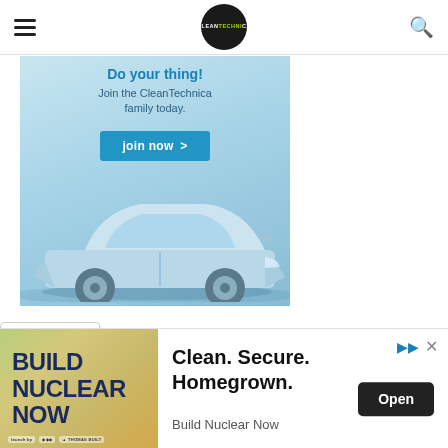CleanTechnica navigation header with hamburger menu, logo, and search icon
[Figure (illustration): CleanTechnica membership advertisement banner with 'Do your thing! Join the CleanTechnica family today.' text, 'join now >' button, and a Tesla electric car image on a blue gradient background]
[Figure (screenshot): Dropdown/chevron button UI element with downward arrow]
[Figure (illustration): Build Nuclear Now advertisement banner with bold dark blue 'BUILD NUCLEAR NOW' text on sandy/tan gradient background on left, and 'Clean. Secure. Homegrown.' headline with 'Open' button and 'Build Nuclear Now' subtext on white background on right]